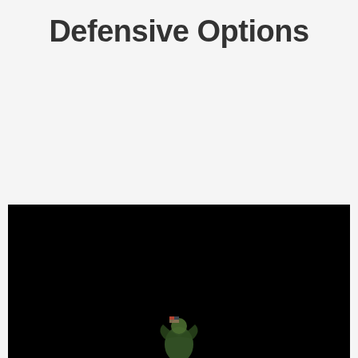Defensive Options
[Figure (photo): Dark/black background image with a small figure or character visible at the bottom center, appearing to be a game or illustration screenshot with a dark scene.]